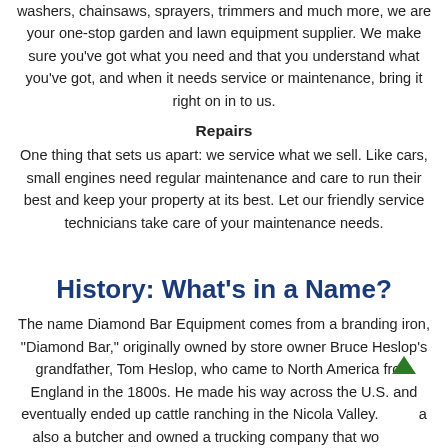washers, chainsaws, sprayers, trimmers and much more, we are your one-stop garden and lawn equipment supplier. We make sure you've got what you need and that you understand what you've got, and when it needs service or maintenance, bring it right on in to us.
Repairs
One thing that sets us apart: we service what we sell. Like cars, small engines need regular maintenance and care to run their best and keep your property at its best. Let our friendly service technicians take care of your maintenance needs.
History: What's in a Name?
The name Diamond Bar Equipment comes from a branding iron, "Diamond Bar," originally owned by store owner Bruce Heslop's grandfather, Tom Heslop, who came to North America from England in the 1800s. He made his way across the U.S. and eventually ended up cattle ranching in the Nicola Valley. also a butcher and owned a trucking company that wo between Kamloops and Merritt.